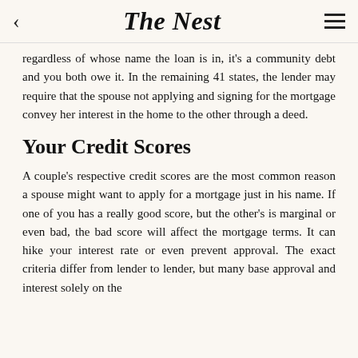The Nest
regardless of whose name the loan is in, it's a community debt and you both owe it. In the remaining 41 states, the lender may require that the spouse not applying and signing for the mortgage convey her interest in the home to the other through a deed.
Your Credit Scores
A couple's respective credit scores are the most common reason a spouse might want to apply for a mortgage just in his name. If one of you has a really good score, but the other's is marginal or even bad, the bad score will affect the mortgage terms. It can hike your interest rate or even prevent approval. The exact criteria differ from lender to lender, but many base approval and interest solely on the